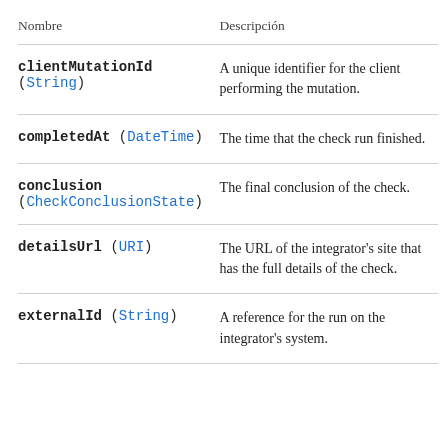| Nombre | Descripción |
| --- | --- |
| clientMutationId (String) | A unique identifier for the client performing the mutation. |
| completedAt (DateTime) | The time that the check run finished. |
| conclusion (CheckConclusionState) | The final conclusion of the check. |
| detailsUrl (URI) | The URL of the integrator's site that has the full details of the check. |
| externalId (String) | A reference for the run on the integrator's system. |